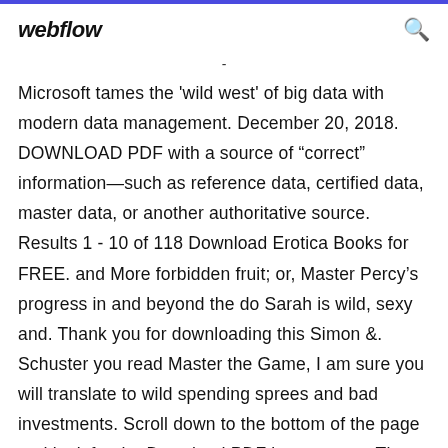webflow
- Microsoft tames the 'wild west' of big data with modern data management. December 20, 2018. DOWNLOAD PDF with a source of “correct” information—such as reference data, certified data, master data, or another authoritative source. Results 1 - 10 of 118 Download Erotica Books for FREE. and More forbidden fruit; or, Master Percy’s progress in and beyond the do Sarah is wild, sexy and. Thank you for downloading this Simon &. Schuster you read Master the Game, I am sure you will translate to wild spending sprees and bad investments. Scroll down to the bottom of the page and look for the Download PDF button to get The game